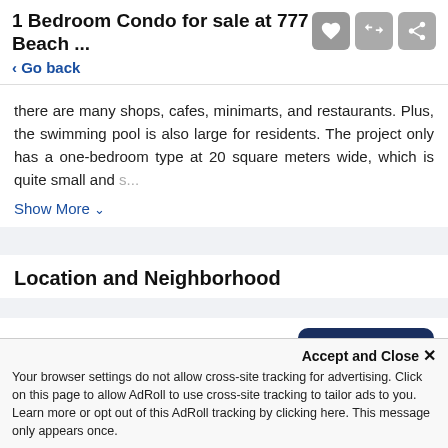1 Bedroom Condo for sale at 777 Beach ...
< Go back
there are many shops, cafes, minimarts, and restaurants. Plus, the swimming pool is also large for residents. The project only has a one-bedroom type at 20 square meters wide, which is quite small and s...
Show More
Location and Neighborhood
Similar Units
[Figure (screenshot): Street View button (dark navy blue rounded rectangle)]
[Figure (photo): Property listing card with red badge reading '10% GUAR. RETURN FOR 5 YEARS']
[Figure (photo): Second property listing card with red badge reading '10% GUAR. RETURN FOR']
Accept and Close ✕
Your browser settings do not allow cross-site tracking for advertising. Click on this page to allow AdRoll to use cross-site tracking to tailor ads to you. Learn more or opt out of this AdRoll tracking by clicking here. This message only appears once.